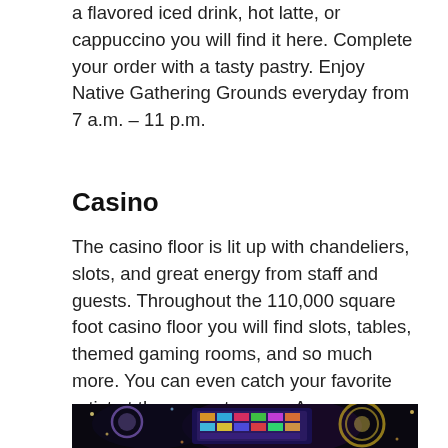a flavored iced drink, hot latte, or cappuccino you will find it here. Complete your order with a tasty pastry. Enjoy Native Gathering Grounds everyday from 7 a.m. – 11 p.m.
Casino
The casino floor is lit up with chandeliers, slots, and great energy from staff and guests. Throughout the 110,000 square foot casino floor you will find slots, tables, themed gaming rooms, and so much more. You can even catch your favorite artist at the concert venue. A sophisticated and contemporary look is appealing to many and leave you in awe.  An exclusive players club and a 12-story hotel with a number of suites will make this a one of a kind experience.
[Figure (photo): Dark interior photo of a casino floor with colorful lights, illuminated decorative orbs and a large bright display screen, taken at night.]